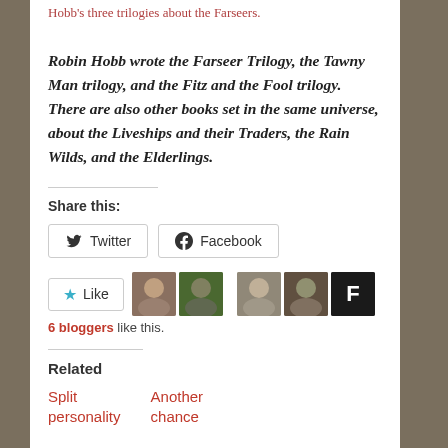Hobb's three trilogies about the Farseers.
Robin Hobb wrote the Farseer Trilogy, the Tawny Man trilogy, and the Fitz and the Fool trilogy. There are also other books set in the same universe, about the Liveships and their Traders, the Rain Wilds, and the Elderlings.
Share this:
Twitter
Facebook
Like
6 bloggers like this.
Related
Split personality
Another chance